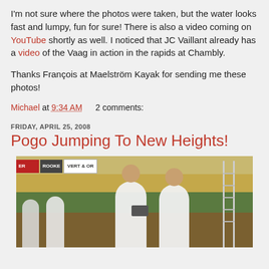I'm not sure where the photos were taken, but the water looks fast and lumpy, fun for sure! There is also a video coming on YouTube shortly as well. I noticed that JC Vaillant already has a video of the Vaag in action in the rapids at Chambly.
Thanks François at Maelström Kayak for sending me these photos!
Michael at 9:34 AM    2 comments:
FRIDAY, APRIL 25, 2008
Pogo Jumping To New Heights!
[Figure (photo): Indoor gymnasium photo showing people in white shirts near a ladder/high jump setup. Banners visible reading 'ROOKE', 'VERT & OR' in the background.]